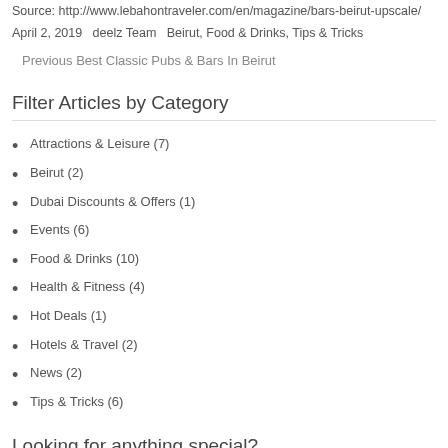Source: http://www.lebahontraveler.com/en/magazine/bars-beirut-upscale/
April 2, 2019   deelz Team   Beirut, Food & Drinks, Tips & Tricks
Previous Best Classic Pubs & Bars In Beirut
Filter Articles by Category
Attractions & Leisure (7)
Beirut (2)
Dubai Discounts & Offers (1)
Events (6)
Food & Drinks (10)
Health & Fitness (4)
Hot Deals (1)
Hotels & Travel (2)
News (2)
Tips & Tricks (6)
Looking for anything special?